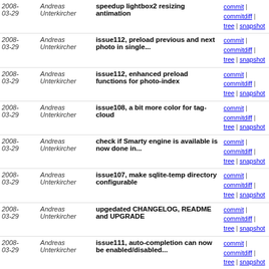| Date | Author | Message | Links |
| --- | --- | --- | --- |
| 2008-03-29 | Andreas Unterkircher | speedup lightbox2 resizing antimation | commit | commitdiff | tree | snapshot |
| 2008-03-29 | Andreas Unterkircher | issue112, preload previous and next photo in single... | commit | commitdiff | tree | snapshot |
| 2008-03-29 | Andreas Unterkircher | issue112, enhanced preload functions for photo-index | commit | commitdiff | tree | snapshot |
| 2008-03-29 | Andreas Unterkircher | issue108, a bit more color for tag-cloud | commit | commitdiff | tree | snapshot |
| 2008-03-29 | Andreas Unterkircher | check if Smarty engine is available is now done in... | commit | commitdiff | tree | snapshot |
| 2008-03-29 | Andreas Unterkircher | issue107, make sqlite-temp directory configurable | commit | commitdiff | tree | snapshot |
| 2008-03-29 | Andreas Unterkircher | upgedated CHANGELOG, README and UPGRADE | commit | commitdiff | tree | snapshot |
| 2008-03-29 | Andreas Unterkircher | issue111, auto-completion can now be enabled/disabled... | commit | commitdiff | tree | snapshot |
| 2008-03-28 | Andreas Unterkircher | issue109, support PNG format | commit | commitdiff | tree | snapshot |
| 2008-03-28 | Andreas Unterkircher | pimped credits template a bit | commit | commitdiff | tree | snapshot |
| 2008-03-28 | Andreas Unterkircher | remove autocomplete and use autosuggest instead | commit | commitdiff | tree | snapshot |
| 2008-03-27 | Andreas Unterkircher | issue111, first try of auto completion for tag search box | commit | commitdiff | tree | snapshot |
| 2008-03-27 | Andreas Unterkircher | enable or disable lightbox2 preview with use_lightbox... | commit | commitdiff | tree | snapshot |
| 2008-03-27 | Andreas Unterkircher | only show preview icon in | commit |